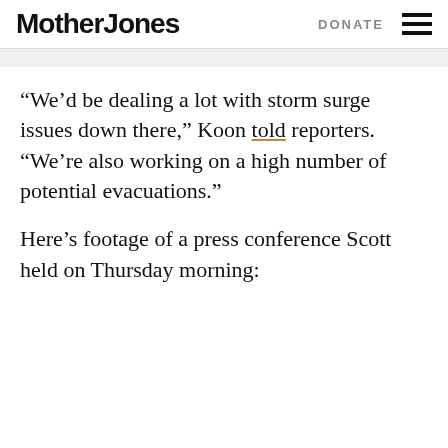Mother Jones | DONATE
“We’d be dealing a lot with storm surge issues down there,” Koon told reporters. “We’re also working on a high number of potential evacuations.”
Here’s footage of a press conference Scott held on Thursday morning: